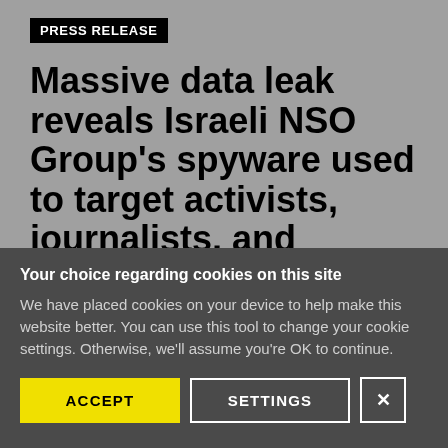PRESS RELEASE
Massive data leak reveals Israeli NSO Group's spyware used to target activists, journalists, and political
Your choice regarding cookies on this site
We have placed cookies on your device to help make this website better. You can use this tool to change your cookie settings. Otherwise, we'll assume you're OK to continue.
ACCEPT | SETTINGS | X